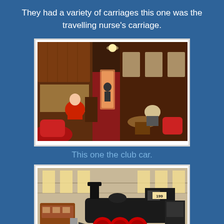They had a variety of carriages this one was the travelling nurse's carriage.
[Figure (photo): Interior of a vintage train carriage (club car) with dark wood paneling, red upholstered chairs, a person in red sitting at a desk, and another person seated at a round table further back. Red carpet runs down the center aisle.]
This one the club car.
[Figure (photo): Interior of a railway museum building showing a large black steam locomotive numbered 199 on tracks, with red wheels, inside a shed with high windows letting in light. A wooden passenger car is visible to the left.]